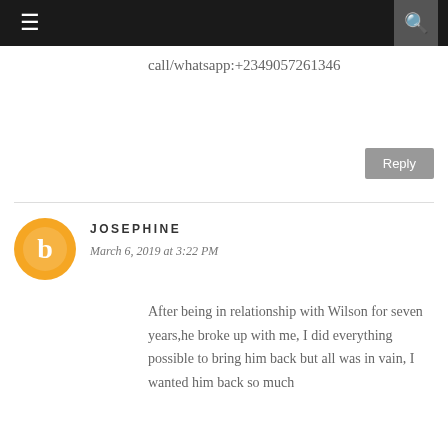≡  🔍
call/whatsapp:+2349057261346
Reply
JOSEPHINE
March 6, 2019 at 3:22 PM
After being in relationship with Wilson for seven years,he broke up with me, I did everything possible to bring him back but all was in vain, I wanted him back so much